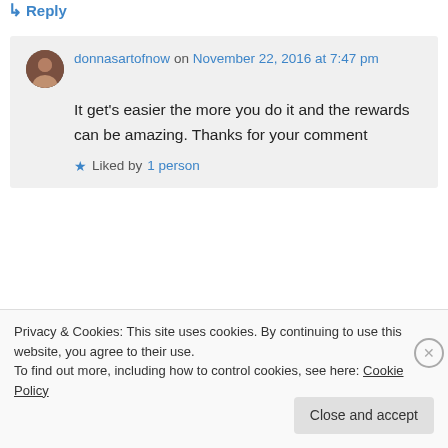↳ Reply
donnasartofnow on November 22, 2016 at 7:47 pm
It get's easier the more you do it and the rewards can be amazing. Thanks for your comment
★ Liked by 1 person
↳ Reply
Privacy & Cookies: This site uses cookies. By continuing to use this website, you agree to their use. To find out more, including how to control cookies, see here: Cookie Policy
Close and accept